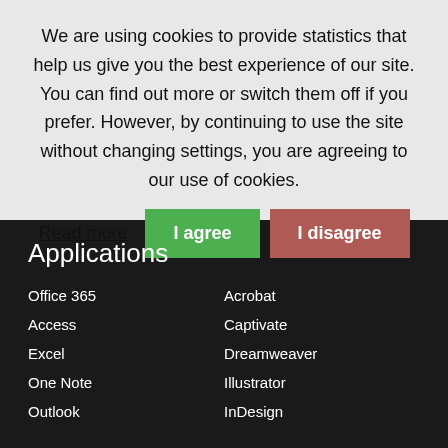We are using cookies to provide statistics that help us give you the best experience of our site. You can find out more or switch them off if you prefer. However, by continuing to use the site without changing settings, you are agreeing to our use of cookies.
Applications
Office 365
Acrobat
Access
Captivate
Excel
Dreamweaver
One Note
Illustrator
Outlook
InDesign